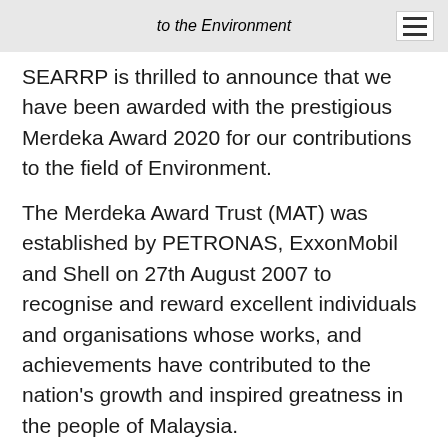to the Environment
SEARRP is thrilled to announce that we have been awarded with the prestigious Merdeka Award 2020 for our contributions to the field of Environment.
The Merdeka Award Trust (MAT) was established by PETRONAS, ExxonMobil and Shell on 27th August 2007 to recognise and reward excellent individuals and organisations whose works, and achievements have contributed to the nation's growth and inspired greatness in the people of Malaysia.
It is such a great honour for our programme to be recognised in this way. The Merdeka Award will be a huge source of pride for our staff, many of whom